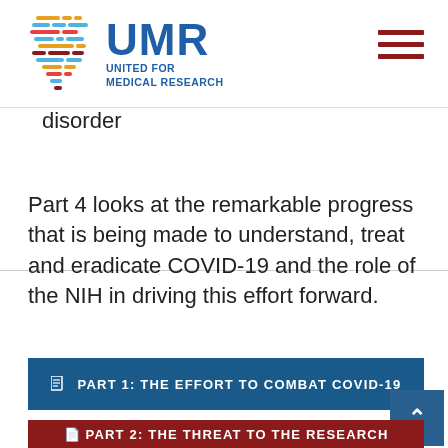[Figure (logo): UMR United for Medical Research logo with colorful horizontal lines icon and blue text]
disorder
Part 4 looks at the remarkable progress that is being made to understand, treat and eradicate COVID-19 and the role of the NIH in driving this effort forward.
PART 1: THE EFFORT TO COMBAT COVID-19
PART 2: THE THREAT TO THE RESEARCH